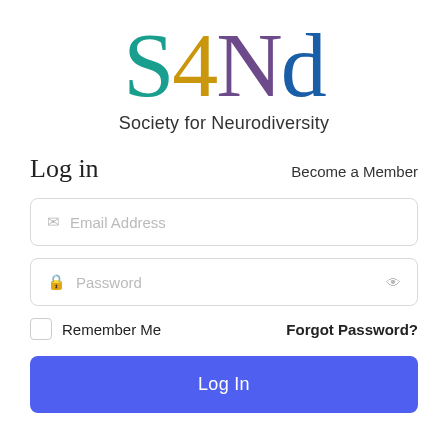[Figure (logo): S4Nd logo with colorful letters: S in teal, 4 in gold/amber, N in purple, d in dark blue, followed by 'Society for Neurodiversity' text below]
Log in
Become a Member
Email Address
Password
Remember Me
Forgot Password?
Log In